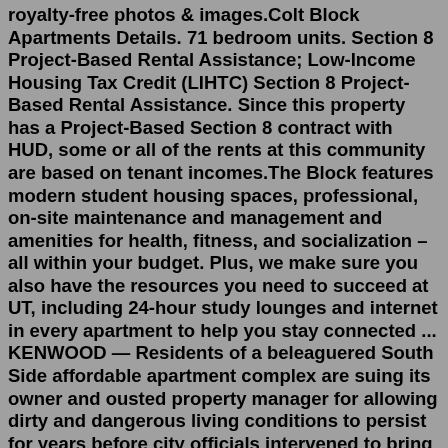royalty-free photos & images.Colt Block Apartments Details. 71 bedroom units. Section 8 Project-Based Rental Assistance; Low-Income Housing Tax Credit (LIHTC) Section 8 Project-Based Rental Assistance. Since this property has a Project-Based Section 8 contract with HUD, some or all of the rents at this community are based on tenant incomes.The Block features modern student housing spaces, professional, on-site maintenance and management and amenities for health, fitness, and socialization – all within your budget. Plus, we make sure you also have the resources you need to succeed at UT, including 24-hour study lounges and internet in every apartment to help you stay connected ... KENWOOD — Residents of a beleaguered South Side affordable apartment complex are suing its owner and ousted property manager for allowing dirty and dangerous living conditions to persist for years before city officials intervened to bring in new leadership. Tonnett Hammond, Karen Harrison and Ashley Salibellas